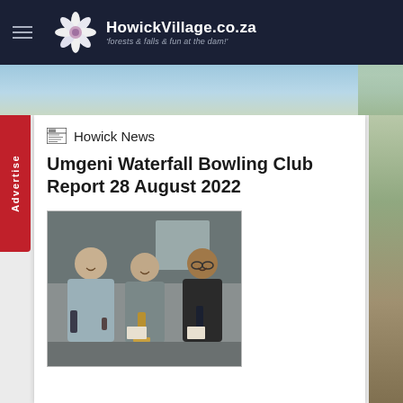HowickVillage.co.za — 'forests & falls & fun at the dam!'
Howick News
Umgeni Waterfall Bowling Club Report 28 August 2022
[Figure (photo): Three men standing together indoors, each holding bottles of wine and papers/vouchers, smiling at the camera.]